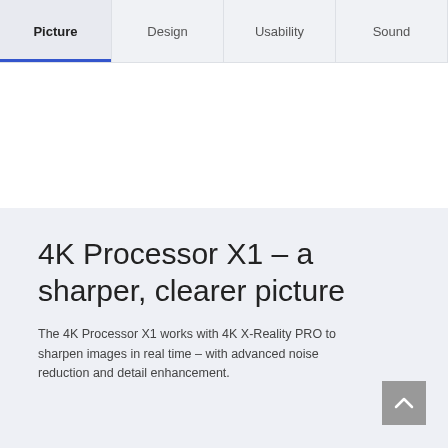Picture | Design | Usability | Sound
4K Processor X1 – a sharper, clearer picture
The 4K Processor X1 works with 4K X-Reality PRO to sharpen images in real time – with advanced noise reduction and detail enhancement.